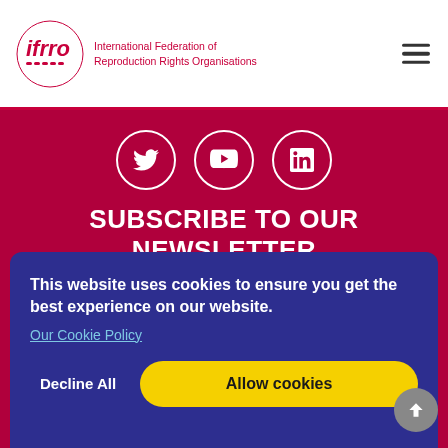[Figure (logo): IFRRO logo - circular red logo with 'ifrro' text and tagline 'International Federation of Reproduction Rights Organisations']
[Figure (infographic): Social media icons: Twitter, YouTube, LinkedIn in white circles on crimson background]
SUBSCRIBE TO OUR NEWSLETTER
To make sure you stay up to date with all our news and events, please enter your email address below to subscribe
This website uses cookies to ensure you get the best experience on our website.
Our Cookie Policy
Decline All
Allow cookies